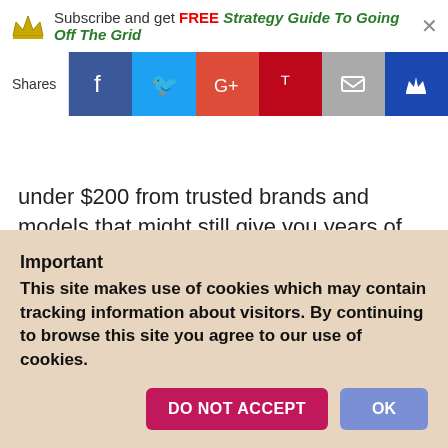Subscribe and get FREE Strategy Guide To Going Off The Grid
Shares [social share buttons: Facebook, Twitter, Google+, Pinterest, Email, Crown]
under $200 from trusted brands and models that might still give you years of service!
2. Give Domed .22 Pellet Flavor a Try
If you enjoy hunting small game and shooting targets, then consider buying a quality air rifle that shoots domed .22 caliber pellets. These pellets are typically
Important
This site makes use of cookies which may contain tracking information about visitors. By continuing to browse this site you agree to our use of cookies.